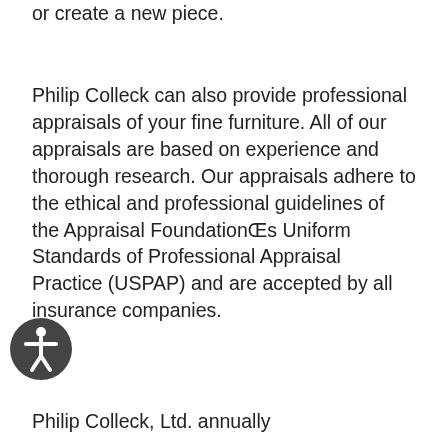or create a new piece.
Philip Colleck can also provide professional appraisals of your fine furniture. All of our appraisals are based on experience and thorough research. Our appraisals adhere to the ethical and professional guidelines of the Appraisal FoundationŒs Uniform Standards of Professional Appraisal Practice (USPAP) and are accepted by all insurance companies.
Philip Colleck, Ltd. annually